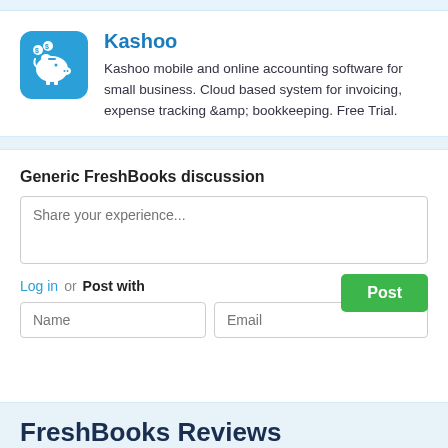[Figure (logo): Kashoo app icon — blue rounded square with white piggy bank and coins]
Kashoo
Kashoo mobile and online accounting software for small business. Cloud based system for invoicing, expense tracking &amp; bookkeeping. Free Trial.
Generic FreshBooks discussion
Share your experience...
Log in or Post with
FreshBooks Reviews